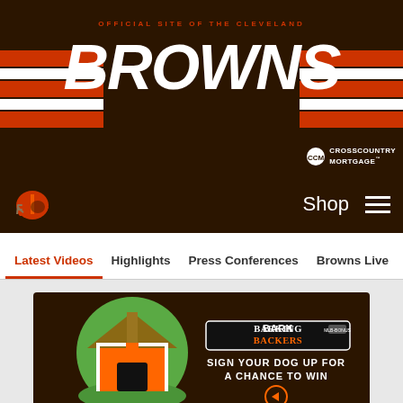OFFICIAL SITE OF THE CLEVELAND BROWNS
[Figure (logo): Cleveland Browns official site header with BROWNS logo, orange/white stripes, and CrossCountry Mortgage sponsor logo]
[Figure (logo): Cleveland Browns helmet icon in navigation bar]
Shop
Latest Videos
Highlights
Press Conferences
Browns Live
Me
[Figure (illustration): Barking Backers advertisement showing an orange Cleveland Browns-themed dog house. Text reads: BARKING BACKERS | MLB-BONUS | SIGN YOUR DOG UP FOR A CHANCE TO WIN with a play button arrow.]
Videos